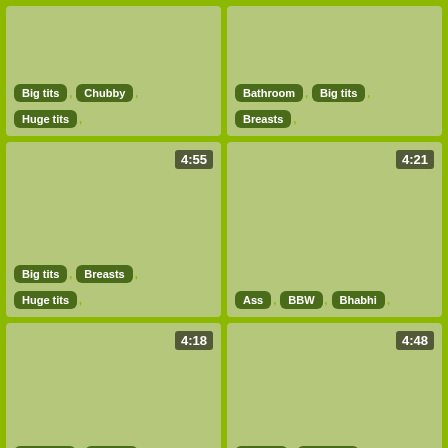[Figure (screenshot): Video thumbnail 1 with tags: Big tits, Chubby, Huge tits]
[Figure (screenshot): Video thumbnail 2 with timer 4:55, tags: Bathroom, Big tits, Breasts]
[Figure (screenshot): Video thumbnail 3 with timer 4:55, tags: Big tits, Breasts, Huge tits]
[Figure (screenshot): Video thumbnail 4 with timer 4:21, tags: Ass, BBW, Bhabhi]
[Figure (screenshot): Video thumbnail 5 with timer 4:18, tags: Big cock, Big tits, Brunette]
[Figure (screenshot): Video thumbnail 6 with timer 4:48, tags: Big tits, Brunette, Cum]
[Figure (screenshot): Video thumbnail 7 with timer 4:55]
[Figure (screenshot): Video thumbnail 8 with timer 4:55]